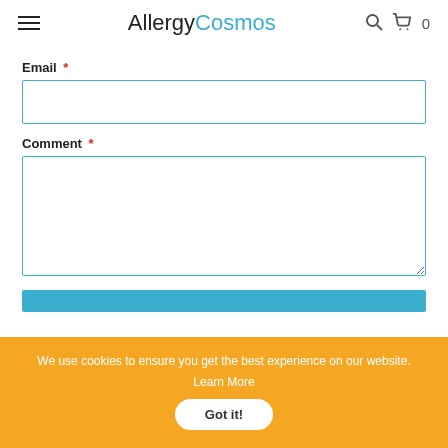AllergyCosmos
Email *
Comment *
We use cookies to ensure you get the best experience on our website. Learn More Got it!